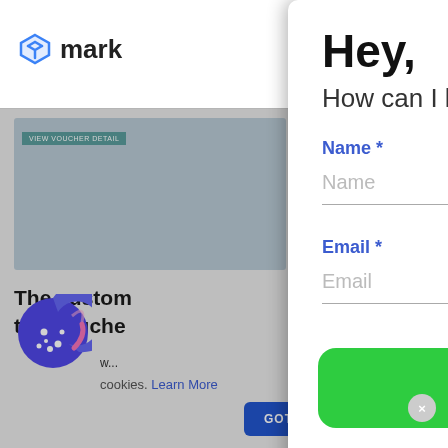[Figure (screenshot): Background webpage showing a marketing/e-commerce site with logo 'mark', a gray image area, heading text 'The custom... the Vouche...', a 'my store' voucher section, and a cookie consent banner with 'GOT IT!' button. Overlaid by a chat support popup panel.]
Hey,
How can I help you?
Name *
Name
Email *
Email
SEND MESSAGE
cookies. Learn More
GOT IT!